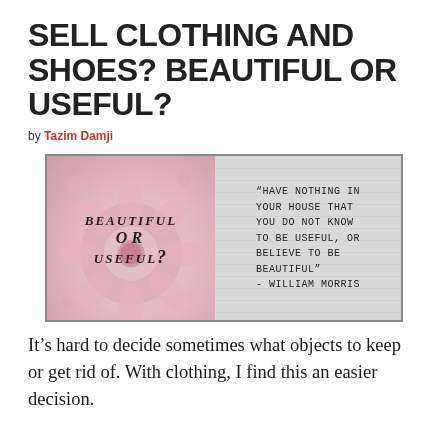SELL CLOTHING AND SHOES? BEAUTIFUL OR USEFUL?
by Tazim Damji
[Figure (illustration): Split image: left half shows decorative floral background (pink flowers) with text 'Beautiful or Useful?' in stylized font; right half shows lined gray background with quote: "Have nothing in your house that you do not know to be useful, or believe to be beautiful" - William Morris]
It’s hard to decide sometimes what objects to keep or get rid of. With clothing, I find this an easier decision.